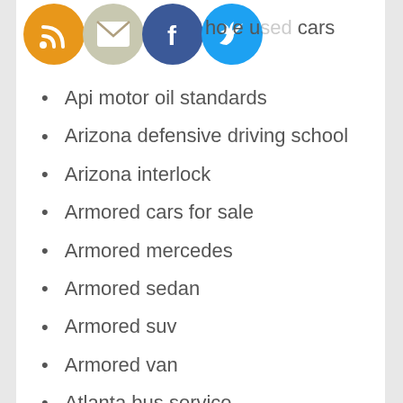[Figure (illustration): Social media icons: RSS (orange), Email (grey/yellow), Facebook (blue), Twitter (blue) arranged in a row at top left]
Antho e used cars
Api motor oil standards
Arizona defensive driving school
Arizona interlock
Armored cars for sale
Armored mercedes
Armored sedan
Armored suv
Armored van
Atlanta bus service
Atlanta transportation
Atv electric fuel pump